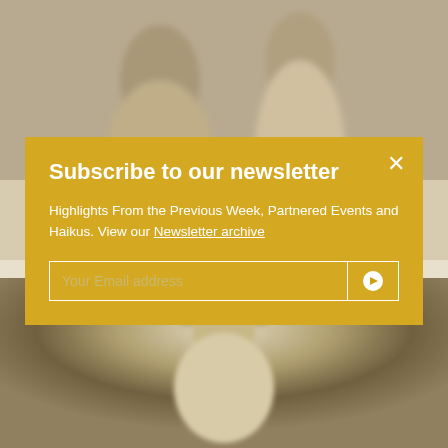[Figure (photo): Top portion of page showing blurred vintage fashion photograph with figures in clothing, partially obscured by yellow newsletter overlay]
Valentine Witmeur Lab Aknitwear
Subscribe to our newsletter
Highlights From the Previous Week, Partnered Events and Haikus. View our Newsletter archive
Your Email address
Subscribe button
[Figure (photo): Bottom portion showing blurred vintage sepia photograph of a person with hands raised near head]